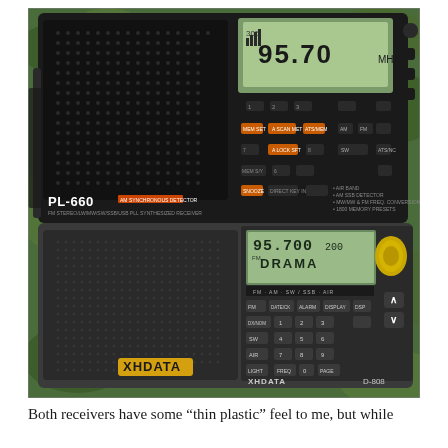[Figure (photo): Two portable shortwave radios photographed outdoors on green foliage. The top device is a black Tecsun PL-660 showing 95.70 MHz on its digital display. The bottom device is a gray XHDATA D-808 also showing 95.700 MHz and 'DRAMA' on its display, with a yellow tuning knob on the right side.]
Both receivers have some “thin plastic” feel to me, but while